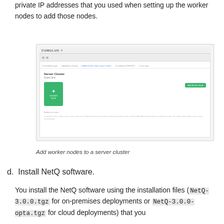private IP addresses that you used when setting up the worker nodes to add those nodes.
[Figure (screenshot): Screenshot of a CUMULUS UI showing a server cluster page with a green worker node card and an 'Add Worker Node' button.]
Add worker nodes to a server cluster
d. Install NetQ software.
You install the NetQ software using the installation files (NetQ-3.0.0.tgz for on-premises deployments or NetQ-3.0.0-opta.tgz for cloud deployments) that you